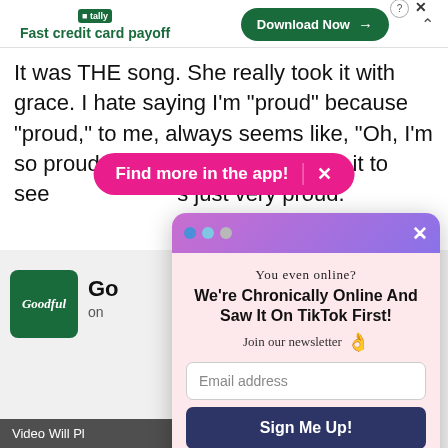[Figure (screenshot): Tally app advertisement banner with logo, tagline 'Fast credit card payoff', and 'Download Now' button]
It was THE song. She really took it with grace. I hate saying I'm "proud" because "proud," to me, always seems like, "Oh, I'm so proud of you." I don't ever want it to seem like that. It's just very proud.
[Figure (screenshot): Pink pill-shaped overlay button reading 'Find more in the app!' with an X close button]
[Figure (screenshot): Goodful brand logo - dark green square with italic text]
Go
on
Video Will Pl
[Figure (screenshot): Newsletter signup modal popup with gradient purple header, 'You even online?' subtitle, 'We're Chronically Online And Saw It On TikTok First!' title, email input field, Sign Me Up button, and No Thanks link]